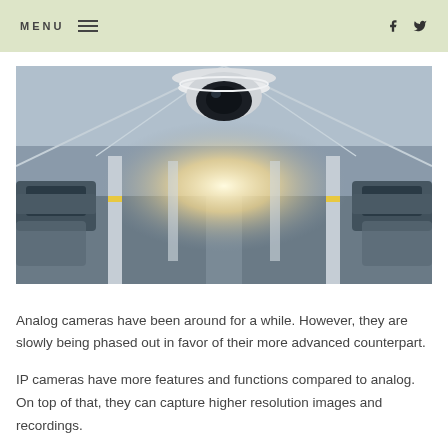MENU  f  (twitter)
[Figure (photo): A dome security camera mounted on a ceiling in a parking garage, viewed from below. The parking garage has cars parked on both sides and a bright light glowing from the far end of the lane.]
Analog cameras have been around for a while. However, they are slowly being phased out in favor of their more advanced counterpart.
IP cameras have more features and functions compared to analog. On top of that, they can capture higher resolution images and recordings.